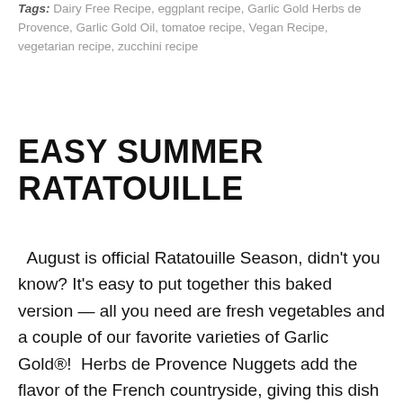Tags: Dairy Free Recipe, eggplant recipe, Garlic Gold Herbs de Provence, Garlic Gold Oil, tomatoe recipe, Vegan Recipe, vegetarian recipe, zucchini recipe
EASY SUMMER RATATOUILLE
August is official Ratatouille Season, didn't you know? It's easy to put together this baked version — all you need are fresh vegetables and a couple of our favorite varieties of Garlic Gold®! Herbs de Provence Nuggets add the flavor of the French countryside, giving this dish of eggplants, zucchini and tomatoes their classic taste. We sprinkle the nuggets all over each layer of vegetables and drizzle in